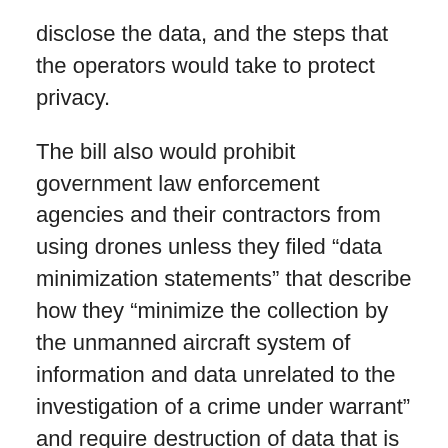disclose the data, and the steps that the operators would take to protect privacy.
The bill also would prohibit government law enforcement agencies and their contractors from using drones unless they filed “data minimization statements” that describe how they “minimize the collection by the unmanned aircraft system of information and data unrelated to the investigation of a crime under warrant” and require destruction of data that is no longer relevant.
Both the FTC and state attorneys general could enforce the law.  The legislation also allows injured individuals to bring actions for up to $1,000 in statutory damages (and $3,000 for injuries arising